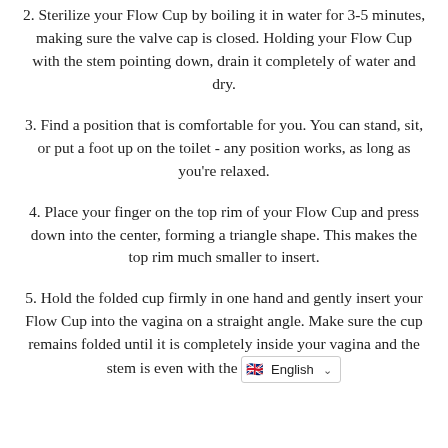2. Sterilize your Flow Cup by boiling it in water for 3-5 minutes, making sure the valve cap is closed. Holding your Flow Cup with the stem pointing down, drain it completely of water and dry.
3. Find a position that is comfortable for you. You can stand, sit, or put a foot up on the toilet - any position works, as long as you're relaxed.
4. Place your finger on the top rim of your Flow Cup and press down into the center, forming a triangle shape. This makes the top rim much smaller to insert.
5. Hold the folded cup firmly in one hand and gently insert your Flow Cup into the vagina on a straight angle. Make sure the cup remains folded until it is completely inside your vagina and the stem is even with the [English language selector]